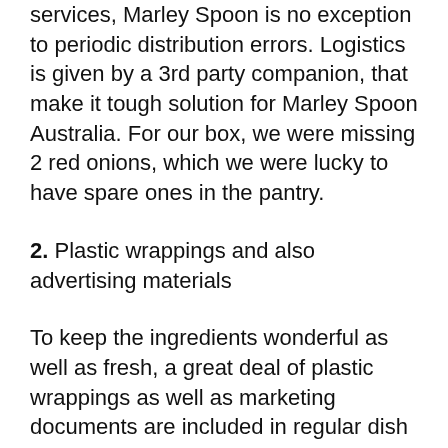services, Marley Spoon is no exception to periodic distribution errors. Logistics is given by a 3rd party companion, that make it tough solution for Marley Spoon Australia. For our box, we were missing 2 red onions, which we were lucky to have spare ones in the pantry.
2. Plastic wrappings and also advertising materials
To keep the ingredients wonderful as well as fresh, a great deal of plastic wrappings as well as marketing documents are included in regular dish box. They are all multiple-use, however packages do collect promptly gets a little irritating gradually. This is the same instance for HelloFresh. If you are seeking